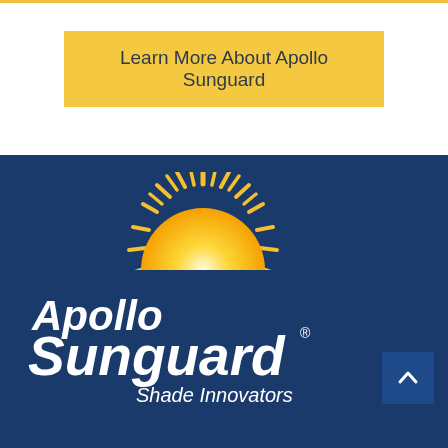Learn More About Apollo Sunguard
[Figure (logo): Apollo Sunguard logo with sun graphic and tagline 'Shade Innovators' on dark blue background]